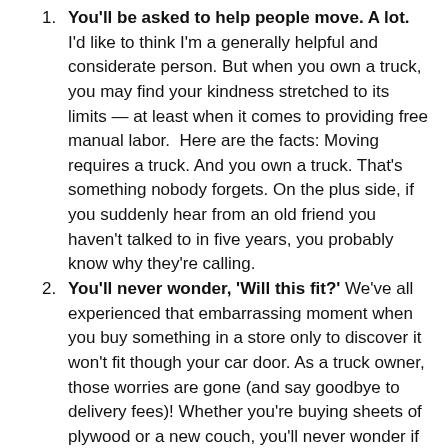You'll be asked to help people move. A lot. I'd like to think I'm a generally helpful and considerate person. But when you own a truck, you may find your kindness stretched to its limits — at least when it comes to providing free manual labor. Here are the facts: Moving requires a truck. And you own a truck. That's something nobody forgets. On the plus side, if you suddenly hear from an old friend you haven't talked to in five years, you probably know why they're calling.
You'll never wonder, 'Will this fit?' We've all experienced that embarrassing moment when you buy something in a store only to discover it won't fit though your car door. As a truck owner, those worries are gone (and say goodbye to delivery fees)! Whether you're buying sheets of plywood or a new couch, you'll never wonder if you have the